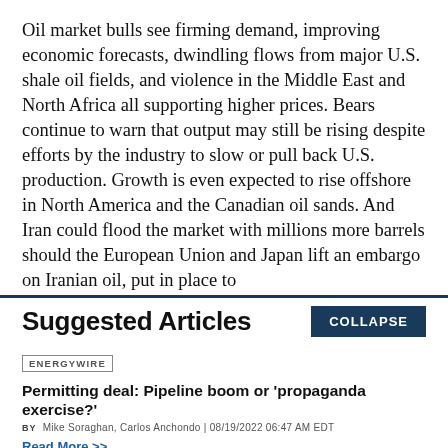Oil market bulls see firming demand, improving economic forecasts, dwindling flows from major U.S. shale oil fields, and violence in the Middle East and North Africa all supporting higher prices. Bears continue to warn that output may still be rising despite efforts by the industry to slow or pull back U.S. production. Growth is even expected to rise offshore in North America and the Canadian oil sands. And Iran could flood the market with millions more barrels should the European Union and Japan lift an embargo on Iranian oil, put in place to
Suggested Articles
ENERGYWIRE
Permitting deal: Pipeline boom or 'propaganda exercise?'
BY Mike Soraghan, Carlos Anchondo | 08/19/2022 06:47 AM EDT
Read More >>
ENERGYWIRE
Climate law may undermine Biden court win on oil leasing